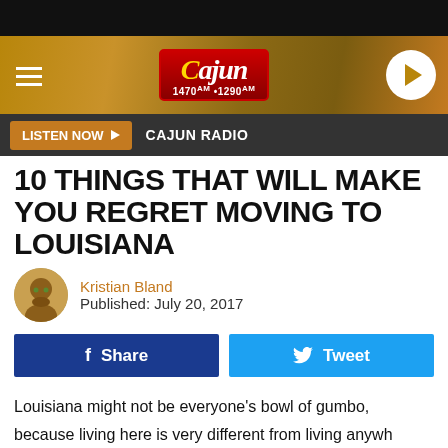[Figure (screenshot): Cajun Radio website header with logo (1470AM·1290AM), hamburger menu, and play button on a brown/gold background]
LISTEN NOW ▶  CAJUN RADIO
10 THINGS THAT WILL MAKE YOU REGRET MOVING TO LOUISIANA
Kristian Bland
Published: July 20, 2017
[Figure (infographic): Share and Tweet social media buttons]
Louisiana might not be everyone's bowl of gumbo, because living here is very different from living anywh[ere else. ...] about our sk[ies...] ht not